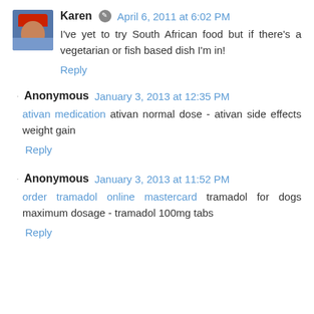Karen  April 6, 2011 at 6:02 PM
I've yet to try South African food but if there's a vegetarian or fish based dish I'm in!
Reply
Anonymous  January 3, 2013 at 12:35 PM
ativan medication ativan normal dose - ativan side effects weight gain
Reply
Anonymous  January 3, 2013 at 11:52 PM
order tramadol online mastercard tramadol for dogs maximum dosage - tramadol 100mg tabs
Reply